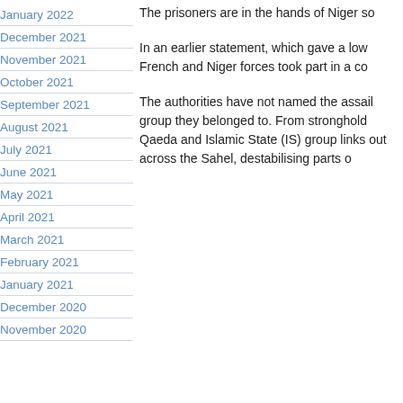January 2022
December 2021
November 2021
October 2021
September 2021
August 2021
July 2021
June 2021
May 2021
April 2021
March 2021
February 2021
January 2021
December 2020
November 2020
The prisoners are in the hands of Niger so
In an earlier statement, which gave a low French and Niger forces took part in a co
The authorities have not named the assail group they belonged to. From stronghold Qaeda and Islamic State (IS) group links out across the Sahel, destabilising parts o